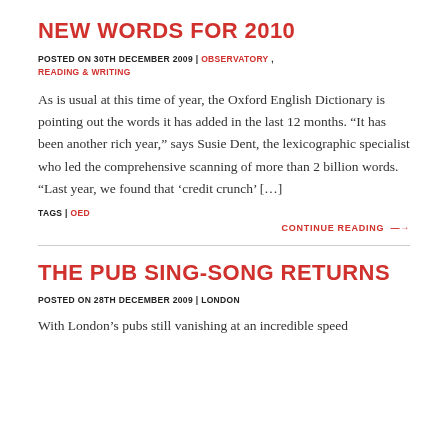NEW WORDS FOR 2010
POSTED ON 30TH DECEMBER 2009 | OBSERVATORY , READING & WRITING
As is usual at this time of year, the Oxford English Dictionary is pointing out the words it has added in the last 12 months. “It has been another rich year,” says Susie Dent, the lexicographic specialist who led the comprehensive scanning of more than 2 billion words. “Last year, we found that ‘credit crunch’ […]
TAGS | OED
CONTINUE READING →
THE PUB SING-SONG RETURNS
POSTED ON 28TH DECEMBER 2009 | LONDON
With London’s pubs still vanishing at an incredible speed